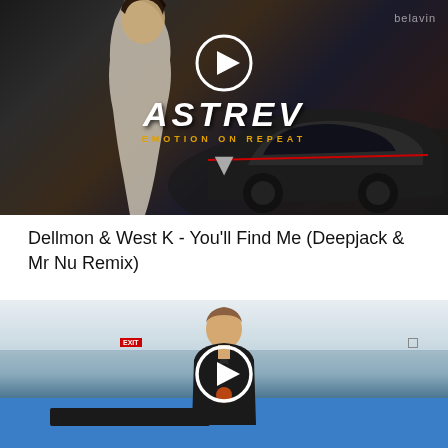[Figure (screenshot): Video thumbnail showing a woman in white dress next to a dark luxury car, with ASTREV branding, play button icon, and 'EMOTION ON REPEAT' tagline. Belavin watermark in top right.]
Dellmon & West K - You'll Find Me (Deepjack & Mr Nu Remix)
[Figure (screenshot): Video thumbnail showing a man in a black jacket sitting at a table on a tennis/sports court, with a play button overlay in the center.]